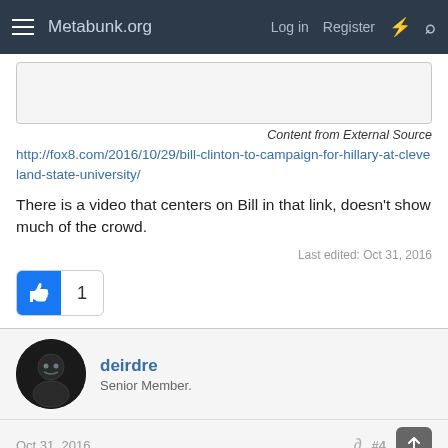Metabunk.org — Log in | Register
[Figure (screenshot): Embedded image placeholder box]
Content from External Source
http://fox8.com/2016/10/29/bill-clinton-to-campaign-for-hillary-at-cleveland-state-university/
There is a video that centers on Bill in that link, doesn't show much of the crowd.
Last edited: Oct 31, 2016
[Figure (other): Like button with thumbs up icon and count of 1]
deirdre
Senior Member.
Oct 31, 2016
#4
derwoodii said: